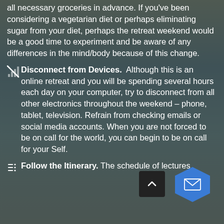all necessary groceries in advance. If you've been considering a vegetarian diet or perhaps eliminating sugar from your diet, perhaps the retreat weekend would be a good time to experiment and be aware of any differences in the mind/body because of this change.
Disconnect from Devices. Although this is an online retreat and you will be spending several hours each day on your computer, try to disconnect from all other electronics throughout the weekend – phone, tablet, television. Refrain from checking emails or social media accounts. When you are not forced to be on call for the world, you can begin to be on call for your Self.
Follow the Itinerary. The schedule of lectures